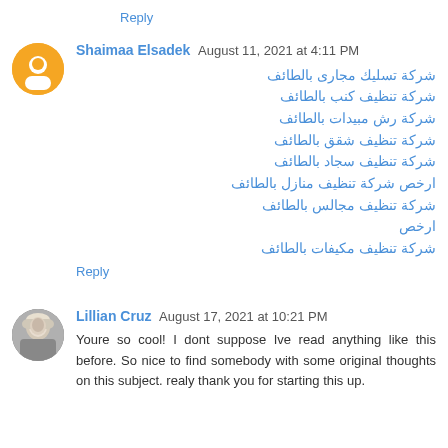Reply
Shaimaa Elsadek  August 11, 2021 at 4:11 PM
شركة تسليك مجارى بالطائف
شركة تنظيف كنب بالطائف
شركة رش مبيدات بالطائف
شركة تنظيف شقق بالطائف
شركة تنظيف سجاد بالطائف
ارخص شركة تنظيف منازل بالطائف
شركة تنظيف مجالس بالطائف ارخص
شركة تنظيف مكيفات بالطائف
Reply
Lillian Cruz  August 17, 2021 at 10:21 PM
Youre so cool! I dont suppose Ive read anything like this before. So nice to find somebody with some original thoughts on this subject. realy thank you for starting this up.